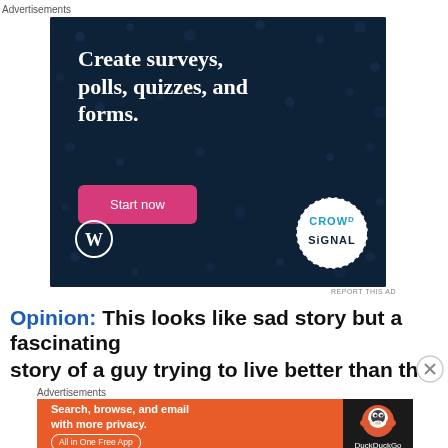Advertisements
[Figure (illustration): CrowdSignal advertisement on dark blue background: 'Create surveys, polls, quizzes, and forms.' with a pink 'Start now' button, WordPress logo, and CrowdSignal badge.]
REPORT THIS AD
Opinion: This looks like sad story but a fascinating story of a guy trying to live better than the
Advertisements
[Figure (illustration): DuckDuckGo advertisement: 'Search, browse, and email with more privacy. All in One Free App' on orange background with DuckDuckGo logo on dark right side.]